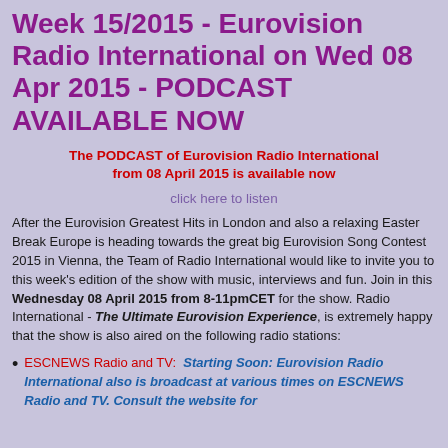Week 15/2015 - Eurovision Radio International on Wed 08 Apr 2015 - PODCAST AVAILABLE NOW
The PODCAST of Eurovision Radio International from 08 April 2015 is available now
click here to listen
After the Eurovision Greatest Hits in London and also a relaxing Easter Break Europe is heading towards the great big Eurovision Song Contest 2015 in Vienna, the Team of Radio International would like to invite you to this week's edition of the show with music, interviews and fun. Join in this Wednesday 08 April 2015 from 8-11pmCET for the show. Radio International - The Ultimate Eurovision Experience, is extremely happy that the show is also aired on the following radio stations:
ESCNEWS Radio and TV: Starting Soon: Eurovision Radio International also is broadcast at various times on ESCNEWS Radio and TV. Consult the website for